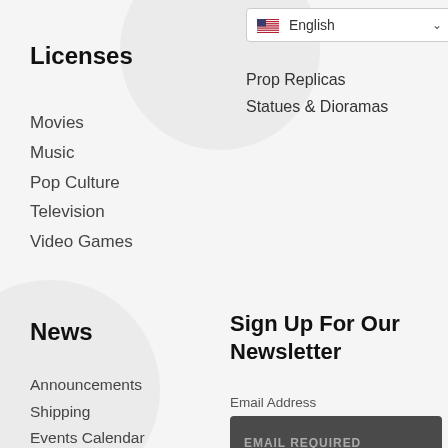[Figure (other): Language selector dropdown showing US flag and 'English' with chevron]
Prop Replicas
Statues & Dioramas
Licenses
Movies
Music
Pop Culture
Television
Video Games
News
Announcements
Shipping
Events Calendar
Downloads
Toy Fair
San Diego Comic Con
New York Comic Con
Sign Up For Our Newsletter
Email Address
EMAIL REQUIRED
First Name